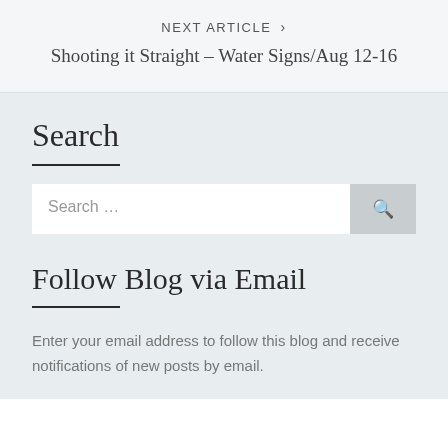NEXT ARTICLE >
Shooting it Straight – Water Signs/Aug 12-16
Search
Search ...
Follow Blog via Email
Enter your email address to follow this blog and receive notifications of new posts by email.